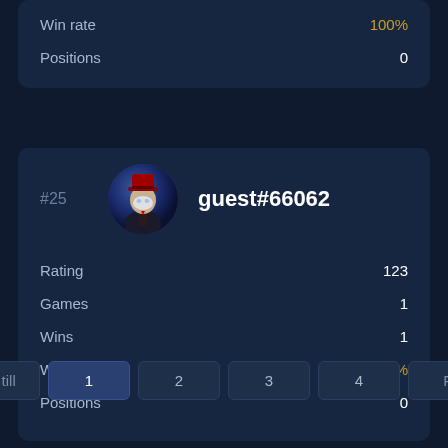| Stat | Value |
| --- | --- |
| Win rate | 100% |
| Positions | 0 |
#25
[Figure (illustration): Pixel-art avatar of a figure wearing a red hat and suit, white mask, dark coat — mafia/spy game character]
guest#66062
| Stat | Value |
| --- | --- |
| Rating | 123 |
| Games | 1 |
| Wins | 1 |
| Win rate | 100% |
| Positions | 0 |
Tillbaka till
1
2
3
4
Framåt